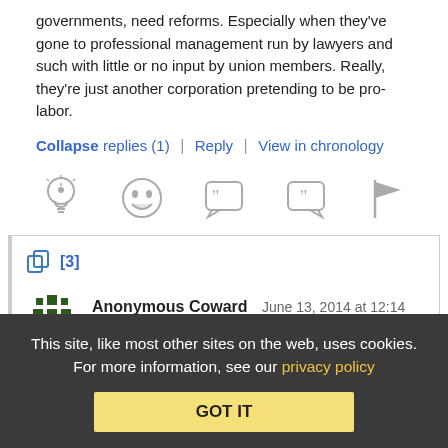governments, need reforms. Especially when they've gone to professional management run by lawyers and such with little or no input by union members. Really, they're just another corporation pretending to be pro-labor.
Collapse replies (1) | Reply | View in chronology
[Figure (infographic): Row of five reaction/action icons: lightbulb, laughing face, open-quote speech bubble, close-quote speech bubble, flag]
[3]
[Figure (illustration): Anonymous Coward avatar - dark green snowflake/cross pattern]
Anonymous Coward   June 13, 2014 at 12:14 pm
This site, like most other sites on the web, uses cookies. For more information, see our privacy policy
GOT IT